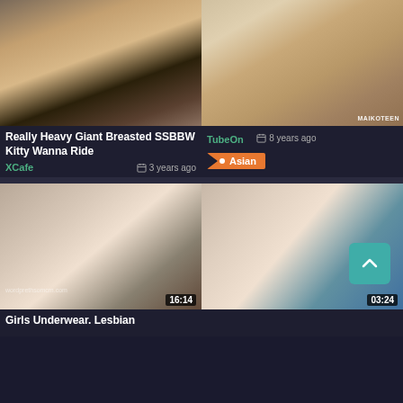[Figure (photo): Thumbnail image top-left: adult content video thumbnail with fishnet and skin tones]
[Figure (photo): Thumbnail image top-right: adult content video thumbnail, person seated on couch, watermark MAIKOTEEN]
Really Heavy Giant Breasted SSBBW Kitty Wanna Ride
XCafe   3 years ago
TubeOn   8 years ago   Asian
[Figure (photo): Thumbnail image bottom-left: adult content video thumbnail, duration 16:14]
[Figure (photo): Thumbnail image bottom-right: adult content video thumbnail, duration 03:24, scroll-up button overlay]
Girls Underwear. Lesbian